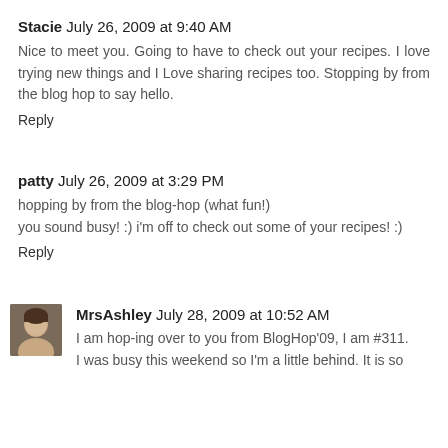Stacie July 26, 2009 at 9:40 AM
Nice to meet you. Going to have to check out your recipes. I love trying new things and I Love sharing recipes too. Stopping by from the blog hop to say hello.
Reply
patty July 26, 2009 at 3:29 PM
hopping by from the blog-hop (what fun!)
you sound busy! :) i'm off to check out some of your recipes! :)
Reply
MrsAshley July 28, 2009 at 10:52 AM
I am hop-ing over to you from BlogHop'09, I am #311. I was busy this weekend so I'm a little behind. It is so...